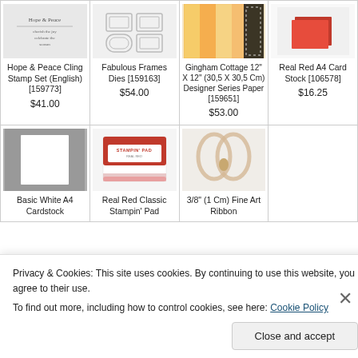[Figure (other): Product grid showing stamps, dies, paper, and cardstock items with prices]
Hope & Peace Cling Stamp Set (English) [159773]
$41.00
Fabulous Frames Dies [159163]
$54.00
Gingham Cottage 12" X 12" (30,5 X 30,5 Cm) Designer Series Paper [159651]
$53.00
Real Red A4 Card Stock [106578]
$16.25
Basic White A4 Cardstock
Real Red Classic Stampin' Pad
3/8" (1 Cm) Fine Art Ribbon
Privacy & Cookies: This site uses cookies. By continuing to use this website, you agree to their use.
To find out more, including how to control cookies, see here: Cookie Policy
Close and accept